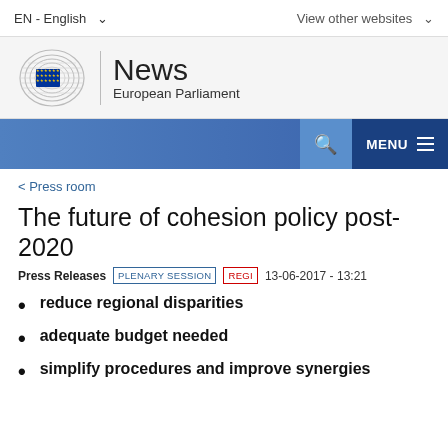EN - English   View other websites
[Figure (logo): European Parliament logo with circular harp-like emblem and EU flag stars, next to 'News European Parliament' text]
MENU
< Press room
The future of cohesion policy post-2020
Press Releases  PLENARY SESSION  REGI  13-06-2017 - 13:21
reduce regional disparities
adequate budget needed
simplify procedures and improve synergies